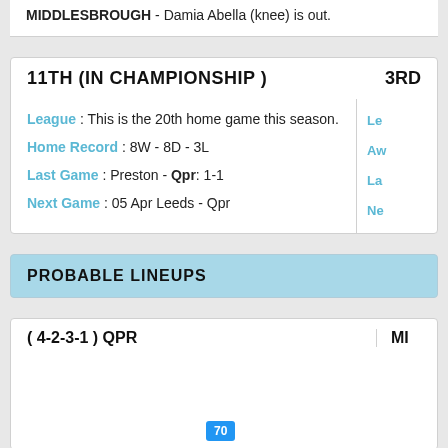MIDDLESBROUGH - Damia Abella (knee) is out.
11TH (IN CHAMPIONSHIP )
League : This is the 20th home game this season.
Home Record : 8W - 8D - 3L
Last Game : Preston - Qpr: 1-1
Next Game : 05 Apr Leeds - Qpr
PROBABLE LINEUPS
( 4-2-3-1 ) QPR
MI